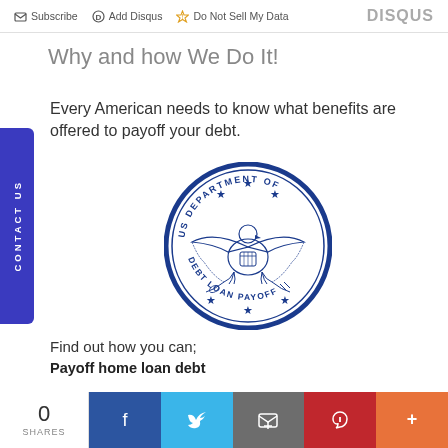Subscribe  Add Disqus  Do Not Sell My Data  DISQUS
Why and how We Do It!
Every American needs to know what benefits are offered to payoff your debt.
[Figure (logo): US Department of Debt Loan Payoff circular seal with eagle and stars in blue]
Find out how you can;
Payoff home loan debt
0 SHARES  Facebook  Twitter  Email  Pinterest  More